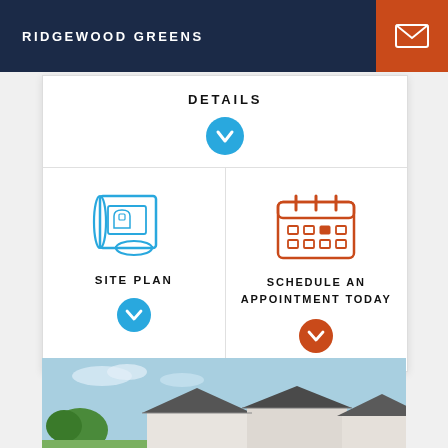RIDGEWOOD GREENS
DETAILS
[Figure (infographic): Blue circular down-arrow button under DETAILS text]
[Figure (infographic): Blueprint/site plan scroll icon in blue, with SITE PLAN label and blue down-arrow button]
[Figure (infographic): Calendar icon in orange/red, with SCHEDULE AN APPOINTMENT TODAY label and orange down-arrow button]
[Figure (photo): Exterior photo of Ridgewood Greens homes showing rooflines against blue sky with trees]